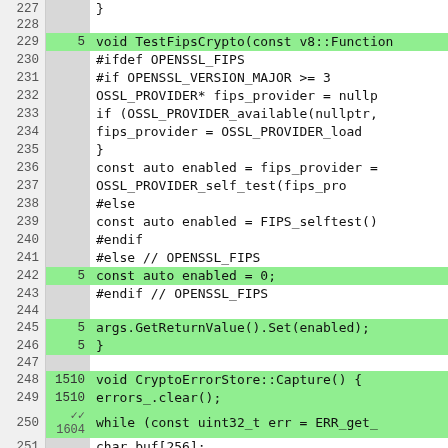[Figure (screenshot): Code coverage viewer showing C++ source code lines 227-253 with line numbers, coverage counts, and highlighted covered/uncovered lines]